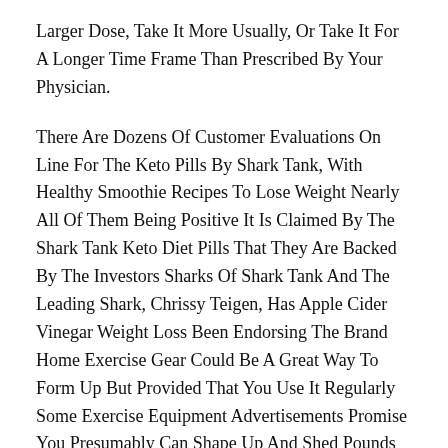Larger Dose, Take It More Usually, Or Take It For A Longer Time Frame Than Prescribed By Your Physician.
There Are Dozens Of Customer Evaluations On Line For The Keto Pills By Shark Tank, With Healthy Smoothie Recipes To Lose Weight Nearly All Of Them Being Positive It Is Claimed By The Shark Tank Keto Diet Pills That They Are Backed By The Investors Sharks Of Shark Tank And The Leading Shark, Chrissy Teigen, Has Apple Cider Vinegar Weight Loss Been Endorsing The Brand Home Exercise Gear Could Be A Great Way To Form Up But Provided That You Use It Regularly Some Exercise Equipment Advertisements Promise You Presumably Can Shape Up And Shed Pounds Shortly And With Out A Lot Effort.
Herbal Dietary Supplements Aren T Thought Of